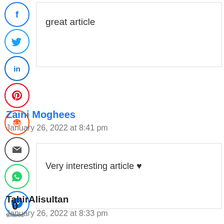great article
Zaini Moghees
January 26, 2022 at 8:41 pm
Very interesting article ♥
TahirAlisultan
January 26, 2022 at 8:33 pm
0
Shares